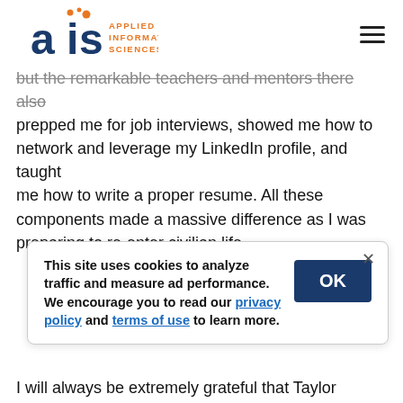AIS Applied Information Sciences
but the remarkable teachers and mentors there also prepped me for job interviews, showed me how to network and leverage my LinkedIn profile, and taught me how to write a proper resume. All these components made a massive difference as I was preparing to re-enter civilian life.
This site uses cookies to analyze traffic and measure ad performance. We encourage you to read our privacy policy and terms of use to learn more.
I will always be extremely grateful that Taylor